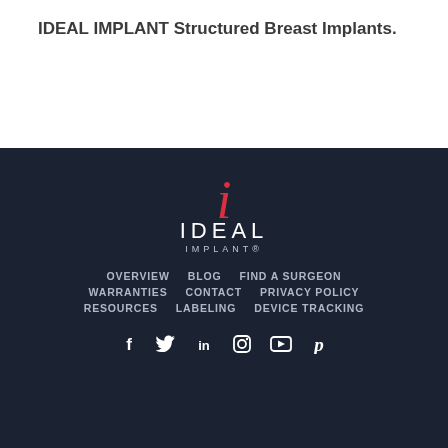IDEAL IMPLANT Structured Breast Implants.
[Figure (logo): IDEAL IMPLANT logo with red cursive 'i' above white block letters 'IDEAL' and smaller 'IMPLANT®' beneath, on dark navy background]
OVERVIEW  BLOG  FIND A SURGEON  WARRANTIES  CONTACT  PRIVACY POLICY  RESOURCES  LABELING  DEVICE TRACKING
Social media icons: Facebook, Twitter, LinkedIn, Instagram, YouTube, Pinterest